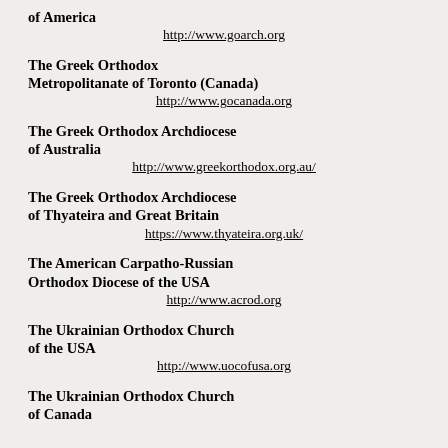of America
http://www.goarch.org
The Greek Orthodox Metropolitanate of Toronto (Canada)
http://www.gocanada.org
The Greek Orthodox Archdiocese of Australia
http://www.greekorthodox.org.au/
The Greek Orthodox Archdiocese of Thyateira and Great Britain
https://www.thyateira.org.uk/
The American Carpatho-Russian Orthodox Diocese of the USA
http://www.acrod.org
The Ukrainian Orthodox Church of the USA
http://www.uocofusa.org
The Ukrainian Orthodox Church of Canada